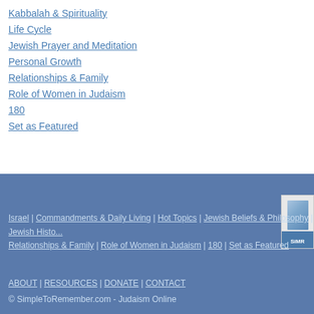Kabbalah & Spirituality
Life Cycle
Jewish Prayer and Meditation
Personal Growth
Relationships & Family
Role of Women in Judaism
180
Set as Featured
Israel | Commandments & Daily Living | Hot Topics | Jewish Beliefs & Philosophy | Jewish Histo... Relationships & Family | Role of Women in Judaism | 180 | Set as Featured
ABOUT | RESOURCES | DONATE | CONTACT
© SimpleToRemember.com - Judaism Online